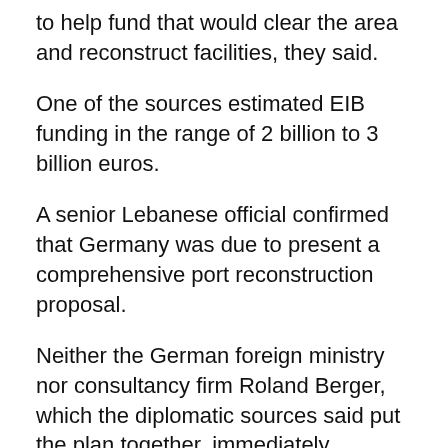to help fund that would clear the area and reconstruct facilities, they said.
One of the sources estimated EIB funding in the range of 2 billion to 3 billion euros.
A senior Lebanese official confirmed that Germany was due to present a comprehensive port reconstruction proposal.
Neither the German foreign ministry nor consultancy firm Roland Berger, which the diplomatic sources said put the plan together, immediately responded to requests for comment. The EIB was not immediately available for comment.
The two diplomatic sources said Lebanon's political elite first need to agree on the make-up of a new government to fix public finances and root out corruption, a condition which donors, including the International Monetary Fund, are also insisting on before they will unlock billions of dollars in aid.